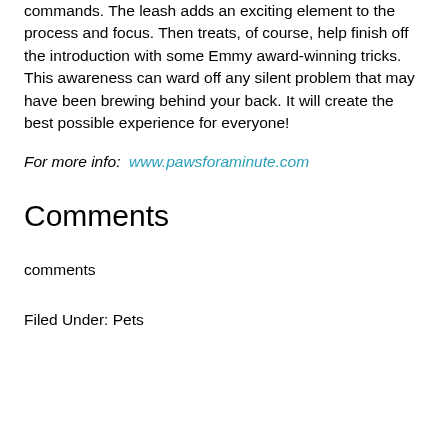commands. The leash adds an exciting element to the process and focus. Then treats, of course, help finish off the introduction with some Emmy award-winning tricks. This awareness can ward off any silent problem that may have been brewing behind your back. It will create the best possible experience for everyone!
For more info:  www.pawsforaminute.com
Comments
comments
Filed Under: Pets